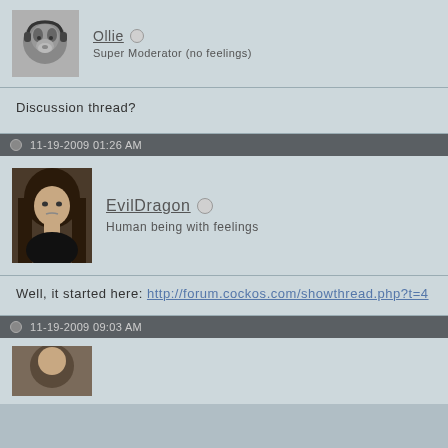[Figure (photo): Avatar of user Ollie - black and white photo of a dog wearing headphones]
Ollie
Super Moderator (no feelings)
Discussion thread?
11-19-2009 01:26 AM
[Figure (photo): Avatar of user EvilDragon - photo of a man with long dark hair wearing black]
EvilDragon
Human being with feelings
Well, it started here: http://forum.cockos.com/showthread.php?t=4
11-19-2009 09:03 AM
[Figure (photo): Partial avatar image at bottom of page]